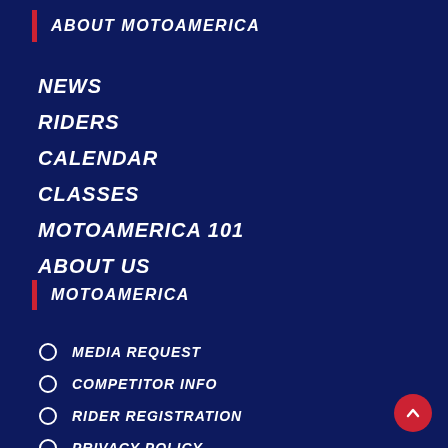ABOUT MOTOAMERICA
NEWS
RIDERS
CALENDAR
CLASSES
MOTOAMERICA 101
ABOUT US
MOTOAMERICA
MEDIA REQUEST
COMPETITOR INFO
RIDER REGISTRATION
PRIVACY POLICY